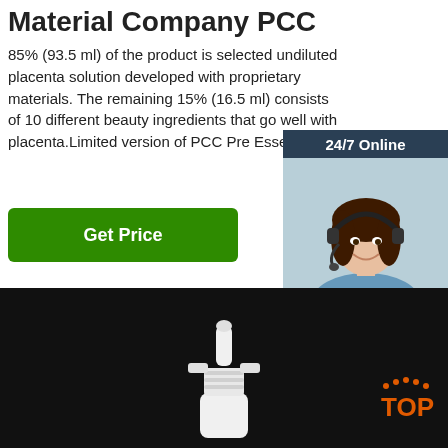Material Company PCC
85% (93.5 ml) of the product is selected undiluted placenta solution developed with proprietary materials. The remaining 15% (16.5 ml) consists of 10 different beauty ingredients that go well with placenta.Limited version of PCC Pre Essence.
[Figure (other): Green 'Get Price' button]
[Figure (other): 24/7 Online customer service widget with photo of smiling woman wearing headset, text 'Click here for free chat!' and orange QUOTATION button]
[Figure (photo): Product photo: white nasal spray bottle on black background with TOP badge in orange in the corner]